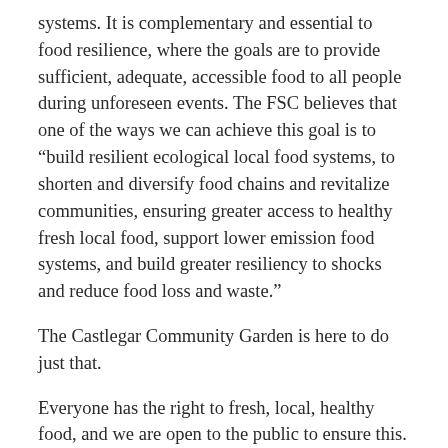systems. It is complementary and essential to food resilience, where the goals are to provide sufficient, adequate, accessible food to all people during unforeseen events. The FSC believes that one of the ways we can achieve this goal is to “build resilient ecological local food systems, to shorten and diversify food chains and revitalize communities, ensuring greater access to healthy fresh local food, support lower emission food systems, and build greater resiliency to shocks and reduce food loss and waste.”
The Castlegar Community Garden is here to do just that.
Everyone has the right to fresh, local, healthy food, and we are open to the public to ensure this. Our community garden is a place where you can come, build connections, enjoy time outside, and take what you need to ensure a healthy, safe diet.
We can change the food system in our community, help lower emissions, and we can guarantee access to healthy safe food, together.